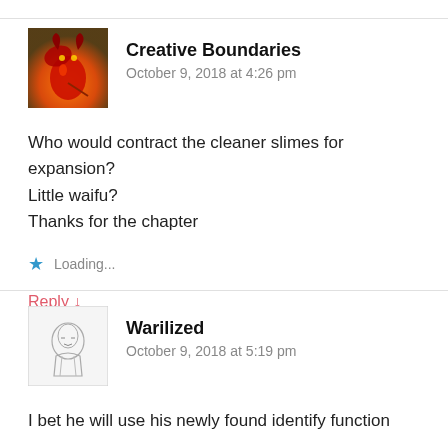[Figure (illustration): Avatar image showing a dragon character with red/orange fire background]
Creative Boundaries
October 9, 2018 at 4:26 pm
Who would contract the cleaner slimes for expansion?
Little waifu?
Thanks for the chapter
Loading...
Reply ↓
[Figure (illustration): Avatar image showing a sketched anime character in pencil/greyscale]
Warilized
October 9, 2018 at 5:19 pm
I bet he will use his newly found identify function